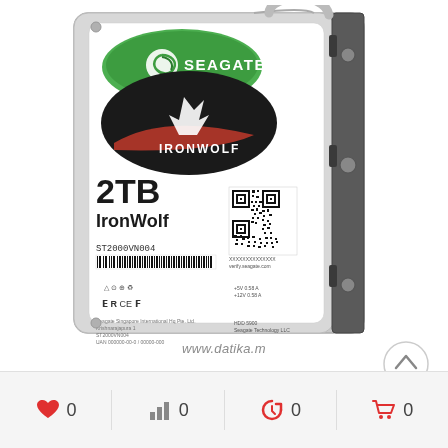[Figure (photo): Seagate IronWolf 2TB NAS hard drive (ST2000VN004) product photo showing the top label with Seagate and IronWolf branding, QR code, barcode, regulatory symbols, and the drive mounted in a metal bracket. Watermark reads www.datika.m]
www.datika.m
0   0   0   0